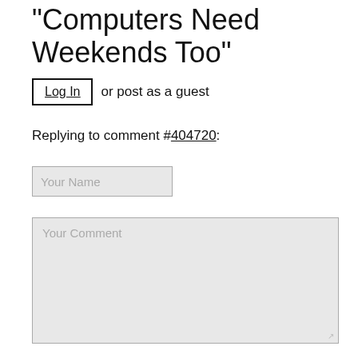“Computers Need Weekends Too”
Log In or post as a guest
Replying to comment #404720:
Your Name
Your Comment